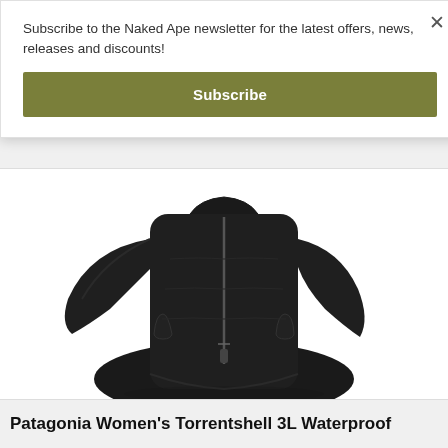Subscribe to the Naked Ape newsletter for the latest offers, news, releases and discounts!
Subscribe
[Figure (photo): A black Patagonia women's waterproof jacket shown from the front, cropped to show the torso and lower body portion with visible zipper and side pockets.]
Patagonia Women's Torrentshell 3L Waterproof